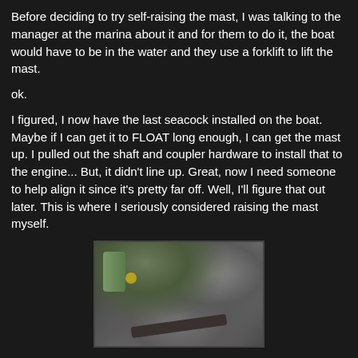Before deciding to try self-raising the mast, I was talking to the manager at the marina about it and for them to do it, the boat would have to be in the water and they use a forklift to lift the mast.
ok.
I figured, I now have the last seacock installed on the boat. Maybe if I can get it to FLOAT long enough, I can get the mast up. I pulled out the shaft and coupler hardware to install that to the engine... But, it didn't line up. Great, now I need someone to help align it since it's pretty far off. Well, I'll figure that out later. This is where I seriously considered raising the mast myself.
[Figure (photo): A close-up photo of boat engine shaft and coupler hardware components, showing a metal shaft, green-painted part, and mechanical connections on a white/gray surface.]